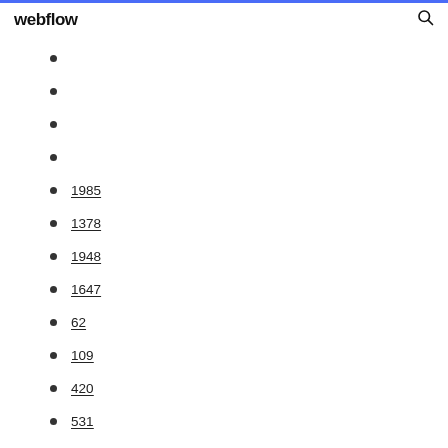webflow
1985
1378
1948
1647
62
109
420
531